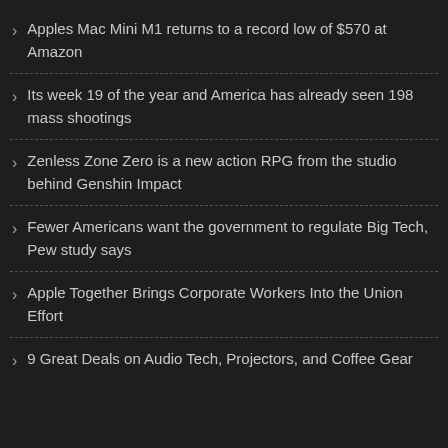Apples Mac Mini M1 returns to a record low of $570 at Amazon
Its week 19 of the year and America has already seen 198 mass shootings
Zenless Zone Zero is a new action RPG from the studio behind Genshin Impact
Fewer Americans want the government to regulate Big Tech, Pew study says
Apple Together Brings Corporate Workers Into the Union Effort
9 Great Deals on Audio Tech, Projectors, and Coffee Gear